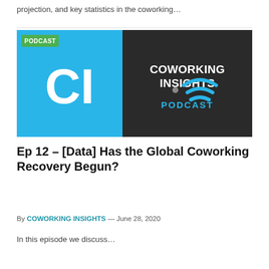projection, and key statistics in the coworking…
[Figure (logo): Coworking Insights Podcast logo image. Left half is blue with large white 'CI' text. Right half is dark/black with 'COWORKING INSIGHTS PODCAST' text in white and blue, with wifi/signal icon. Top-left has green 'PODCAST' label badge.]
Ep 12 – [Data] Has the Global Coworking Recovery Begun?
By COWORKING INSIGHTS — June 28, 2020
In this episode we discuss…